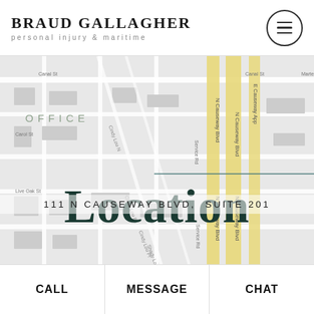BRAUD GALLAGHER
personal injury & maritime
[Figure (map): Street map showing N Causeway Blvd area with yellow highlighted roads]
OFFICE
Location
111 N CAUSEWAY BLVD, SUITE 201
CALL   MESSAGE   CHAT